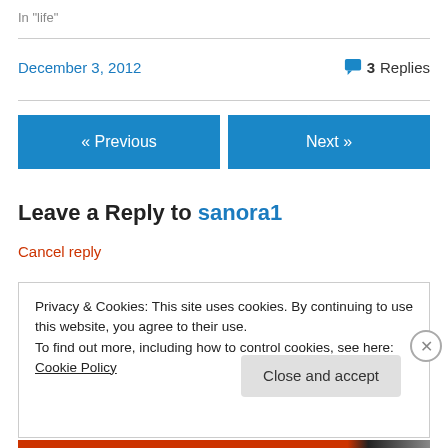In "life"
December 3, 2012   💬 3 Replies
« Previous
Next »
Leave a Reply to sanora1
Cancel reply
Privacy & Cookies: This site uses cookies. By continuing to use this website, you agree to their use.
To find out more, including how to control cookies, see here: Cookie Policy
Close and accept